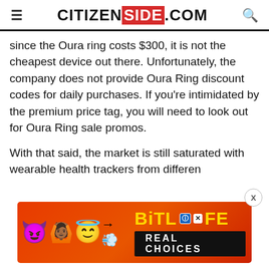CITIZENSIDE.COM
since the Oura ring costs $300, it is not the cheapest device out there. Unfortunately, the company does not provide Oura Ring discount codes for daily purchases. If you’re intimidated by the premium price tag, you will need to look out for Oura Ring sale promos.
With that said, the market is still saturated with wearable health trackers from different
[Figure (other): BitLife - Real Choices advertisement banner with emojis (devil, person with arms raised, angel face) and BitLife logo with Real Choices tagline on red/orange background]